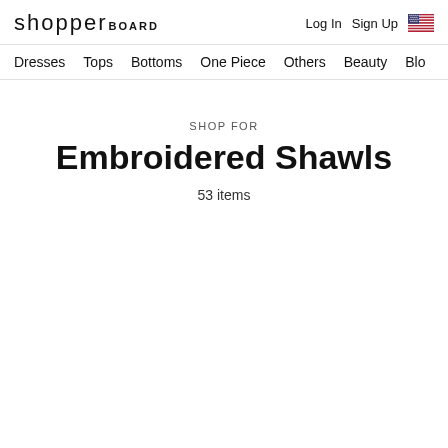shopperBOARD — Log In  Sign Up
Dresses  Tops  Bottoms  One Piece  Others  Beauty  Blo
SHOP FOR
Embroidered Shawls
53 items